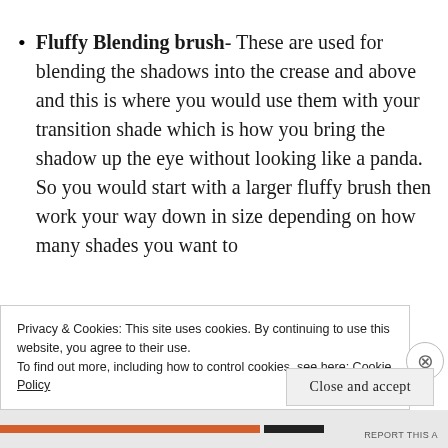Fluffy Blending brush- These are used for blending the shadows into the crease and above and this is where you would use them with your transition shade which is how you bring the shadow up the eye without looking like a panda. So you would start with a larger fluffy brush then work your way down in size depending on how many shades you want to
Privacy & Cookies: This site uses cookies. By continuing to use this website, you agree to their use.
To find out more, including how to control cookies, see here: Cookie Policy
Close and accept